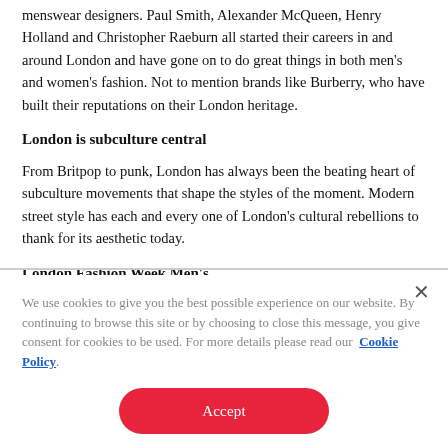menswear designers. Paul Smith, Alexander McQueen, Henry Holland and Christopher Raeburn all started their careers in and around London and have gone on to do great things in both men's and women's fashion. Not to mention brands like Burberry, who have built their reputations on their London heritage.
London is subculture central
From Britpop to punk, London has always been the beating heart of subculture movements that shape the styles of the moment. Modern street style has each and every one of London's cultural rebellions to thank for its aesthetic today.
London Fashion Week Men's
We use cookies to give you the best possible experience on our website. By continuing to browse this site or by choosing to close this message, you give consent for cookies to be used. For more details please read our Cookie Policy.